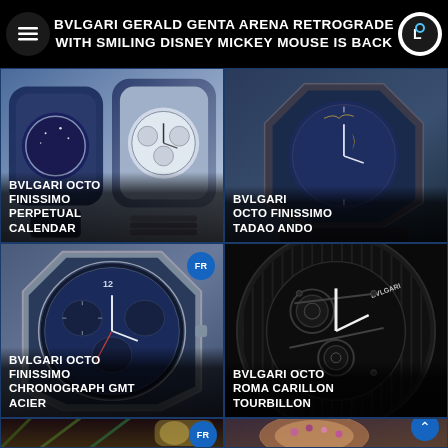BVLGARI GERALD GENTA ARENA RETROGRADE WITH SMILING DISNEY MICKEY MOUSE IS BACK
[Figure (photo): Bvlgari Octo Finissimo Perpetual Calendar watch with blue and silver dials on a metal bracelet]
BVLGARI OCTO FINISSIMO PERPETUAL CALENDAR
[Figure (photo): Bvlgari Octo Finissimo Tadao Ando watch with dark blue guilloche dial and crescent moon detail]
BVLGARI OCTO FINISSIMO TADAO ANDO
[Figure (photo): Bvlgari Octo Finissimo Chronograph GMT Acier watch with blue chronograph dial, FR badge]
BVLGARI OCTO FINISSIMO CHRONOGRAPH GMT ACIER
[Figure (photo): Bvlgari Octo Roma Carillon Tourbillon watch with skeletonized black dial showing movement]
BVLGARI OCTO ROMA CARILLON TOURBILLON
[Figure (photo): Bottom left partial watch photo with peacock feather background, FR badge]
[Figure (photo): Bottom right partial watch photo showing rose gold and gemstone watch]